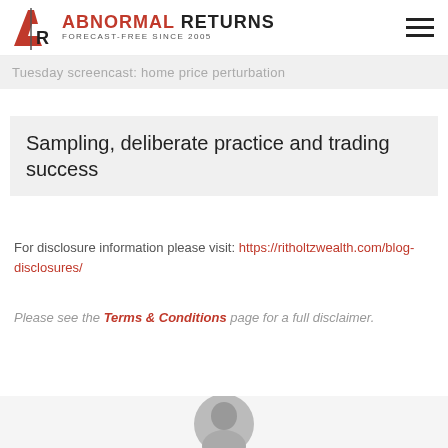ABNORMAL RETURNS — FORECAST-FREE SINCE 2005
Tuesday screencast: home price perturbation
Sampling, deliberate practice and trading success
For disclosure information please visit: https://ritholtzwealth.com/blog-disclosures/
Please see the Terms & Conditions page for a full disclaimer.
[Figure (photo): Partial view of a person's face/head at the bottom of the page]